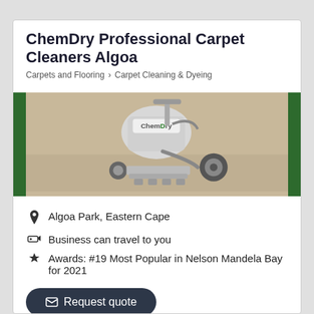ChemDry Professional Carpet Cleaners Algoa
Carpets and Flooring > Carpet Cleaning & Dyeing
[Figure (photo): ChemDry carpet cleaning machine on carpet with green side panels]
Algoa Park, Eastern Cape
Business can travel to you
Awards: #19 Most Popular in Nelson Mandela Bay for 2021
Request quote
Contact me | Email | www